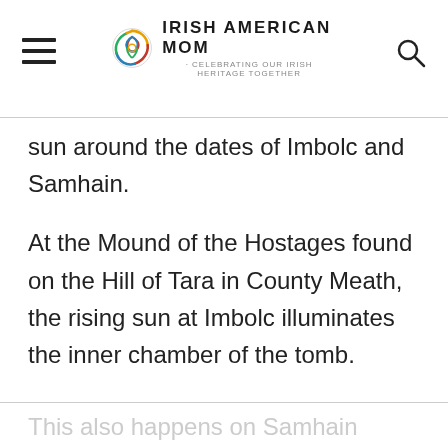Irish American Mom - Celebrating Our Irish Heritage Together
sun around the dates of Imbolc and Samhain.
At the Mound of the Hostages found on the Hill of Tara in County Meath, the rising sun at Imbolc illuminates the inner chamber of the tomb.
This also happens on Samhain